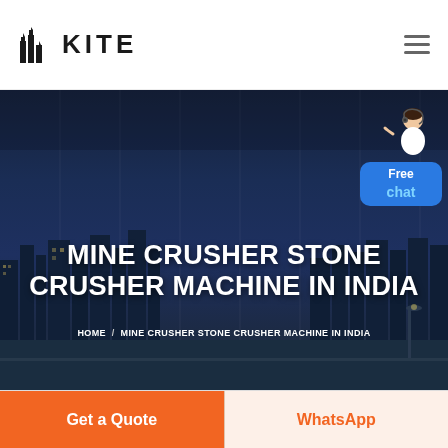[Figure (logo): KITE brand logo with building/city icon and bold KITE text]
[Figure (photo): Dark blue hero banner showing industrial facility/buildings at night with vertical grid overlay]
[Figure (illustration): Free chat widget with customer service person figure and blue bubble reading Free chat]
MINE CRUSHER STONE CRUSHER MACHINE IN INDIA
HOME / MINE CRUSHER STONE CRUSHER MACHINE IN INDIA
Get a Quote
WhatsApp